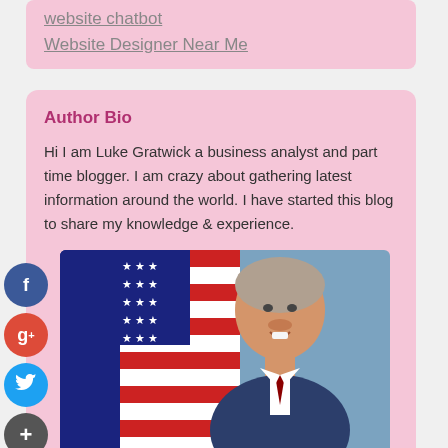website chatbot
Website Designer Near Me
Author Bio
Hi I am Luke Gratwick a business analyst and part time blogger. I am crazy about gathering latest information around the world. I have started this blog to share my knowledge & experience.
[Figure (photo): Photo of a man smiling in front of an American flag, official portrait style]